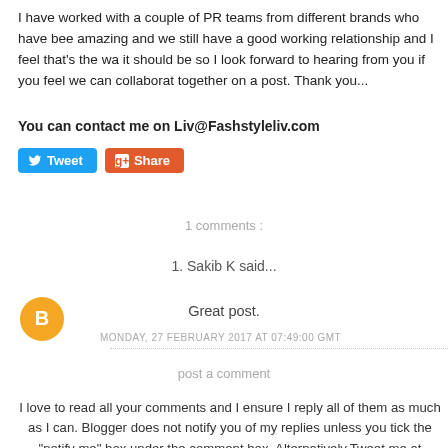I have worked with a couple of PR teams from different brands who have been amazing and we still have a good working relationship and I feel that's the way it should be so I look forward to hearing from you if you feel we can collaborate together on a post. Thank you...
You can contact me on Liv@Fashstyleliv.com
[Figure (other): Tweet and Share buttons]
1 comments :
1. Sakib K said...
[Figure (other): Orange Blogger avatar circle with B icon]
Great post.
MONDAY, 27 FEBRUARY 2017 AT 07:49:00 GMT
post a comment
I love to read all your comments and I ensure I reply all of them as much as I can. Blogger does not notify you of my replies unless you tick the "notify me" box under the comment box. Alternatively, Tweet me at @fashstyleliv